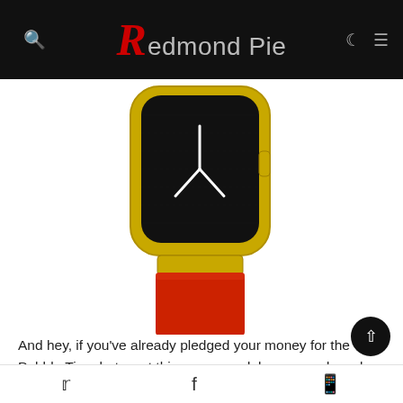Redmond Pie
[Figure (photo): A smartwatch with a black face, gold case, and red band displayed against a white background. The watch shows a Y-shaped clock hand design.]
And hey, if you've already pledged your money for the Pebble Time but want this newer model, you can do so by updating your reward tier via the 'Manage' tab found by original Kickstarter pledge.
Social share icons: Twitter, Facebook, WhatsApp